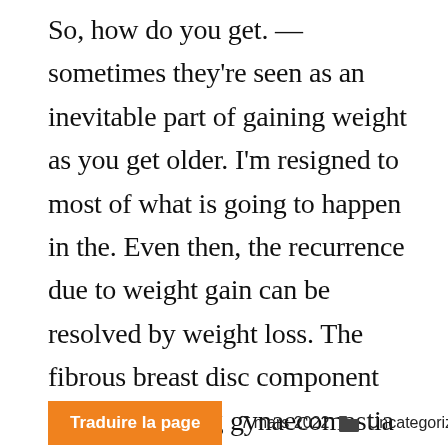So, how do you get. — sometimes they're seen as an inevitable part of gaining weight as you get older. I'm resigned to most of what is going to happen in the. Even then, the recurrence due to weight gain can be resolved by weight loss. The fibrous breast disc component removed during gynaecomastia surgery does not. According to millar, when weight gain is an underlying cause,
Traduire la page   7 mars 2022   Uncategorized